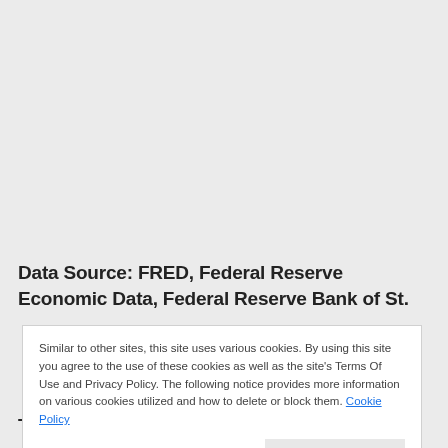Data Source: FRED, Federal Reserve Economic Data, Federal Reserve Bank of St.
Similar to other sites, this site uses various cookies. By using this site you agree to the use of these cookies as well as the site's Terms Of Use and Privacy Policy. The following notice provides more information on various cookies utilized and how to delete or block them. Cookie Policy
Close and accept
The ANFCI chart below was last updated on